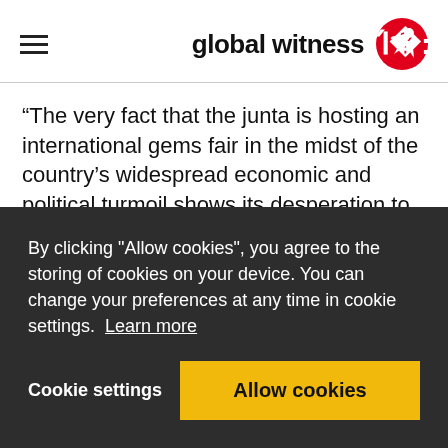global witness
“The very fact that the junta is hosting an international gems fair in the midst of the country’s widespread economic and political turmoil shows its desperation to secure internationally-traded currency.” said the publication’s senior Campaign Coordinator. The gems fair will further fund the junta’s military operations and illegal activities. The country’s population, we are told, includes a significant poor population.
Under the current circumstances, the UN military advisor reported that around US$22 million in sales that resulting in around US$22 million in sales
By clicking "Allow cookies", you agree to the storing of cookies on your device. You can change your preferences at any time in cookie settings. Learn more
Cookie settings
Allow cookies